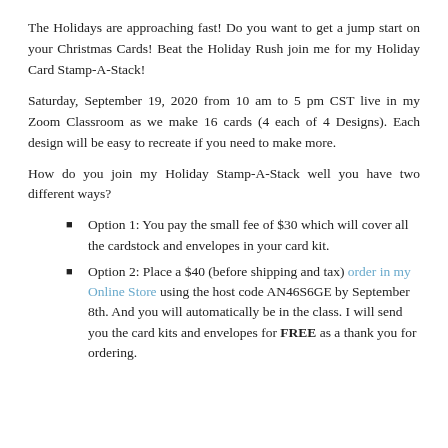The Holidays are approaching fast!  Do you want to get a jump start on your Christmas Cards!  Beat the Holiday Rush join me for my Holiday Card Stamp-A-Stack!
Saturday, September 19, 2020 from 10 am to 5 pm CST live in my Zoom Classroom as we make 16 cards (4 each of 4 Designs).  Each design will be easy to recreate if you need to make more.
How do you join my Holiday Stamp-A-Stack well you have two different ways?
Option 1:  You pay the small fee of $30 which will cover all the cardstock and envelopes in your card kit.
Option 2:  Place a $40 (before shipping and tax) order in my Online Store using the host code AN46S6GE by September 8th.  And you will automatically be in the class.  I will send you the card kits and envelopes for FREE as a thank you for ordering.